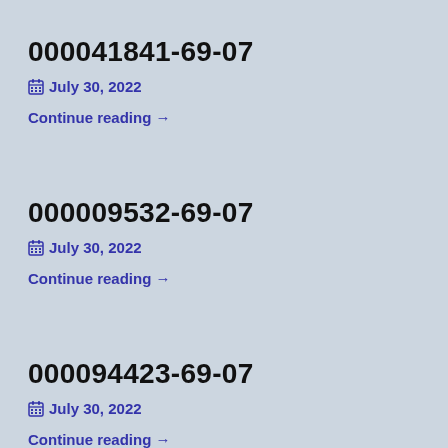000041841-69-07
📅 July 30, 2022
Continue reading →
000009532-69-07
📅 July 30, 2022
Continue reading →
000094423-69-07
📅 July 30, 2022
Continue reading →